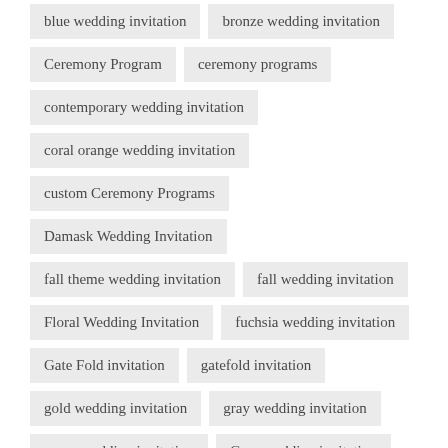blue wedding invitation
bronze wedding invitation
Ceremony Program
ceremony programs
contemporary wedding invitation
coral orange wedding invitation
custom Ceremony Programs
Damask Wedding Invitation
fall theme wedding invitation
fall wedding invitation
Floral Wedding Invitation
fuchsia wedding invitation
Gate Fold invitation
gatefold invitation
gold wedding invitation
gray wedding invitation
green wedding invitation
Grey wedding invitation
Lavender Wedding Invitation
menu cards
modern wedding invitations